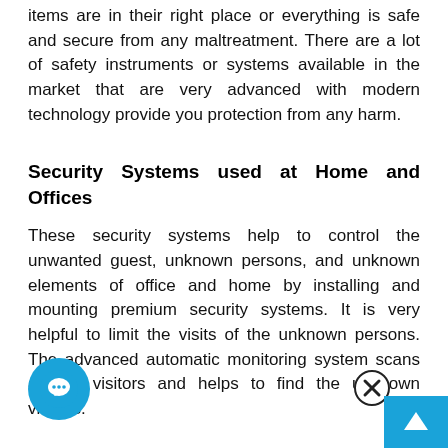items are in their right place or everything is safe and secure from any maltreatment. There are a lot of safety instruments or systems available in the market that are very advanced with modern technology provide you protection from any harm.
Security Systems used at Home and Offices
These security systems help to control the unwanted guest, unknown persons, and unknown elements of office and home by installing and mounting premium security systems. It is very helpful to limit the visits of the unknown persons. The advanced automatic monitoring system scans all the visitors and helps to find the unknown visitors.